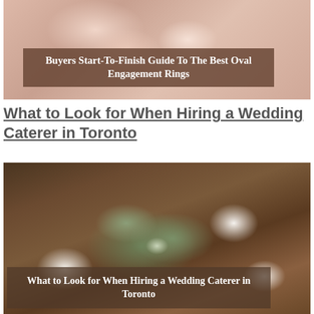[Figure (photo): Close-up photo of hands with an oval engagement ring, with a brown semi-transparent overlay text box reading 'Buyers Start-To-Finish Guide To The Best Oval Engagement Rings']
What to Look for When Hiring a Wedding Caterer in Toronto
[Figure (photo): Overhead photo of an elegantly set wedding reception table with white plates, greenery garland, candles, and glassware, with a semi-transparent overlay text box reading 'What to Look for When Hiring a Wedding Caterer in Toronto']